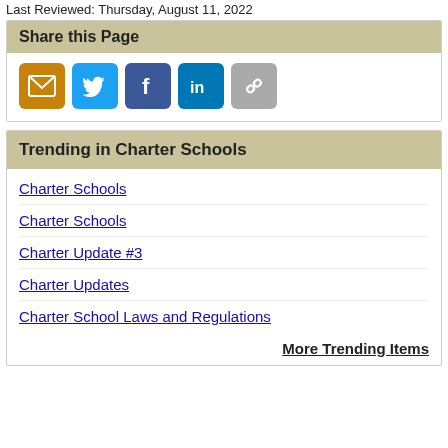Last Reviewed: Thursday, August 11, 2022
Share this Page
[Figure (infographic): Social sharing icons: Email (orange), Twitter (blue), Facebook (dark blue), LinkedIn (blue), Link/chain (grey)]
Trending in Charter Schools
Charter Schools
Charter Schools
Charter Update #3
Charter Updates
Charter School Laws and Regulations
More Trending Items